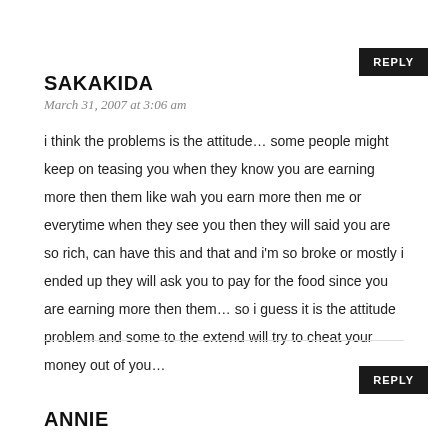SAKAKIDA
March 31, 2007 at 3:06 am
i think the problems is the attitude… some people might keep on teasing you when they know you are earning more then them like wah you earn more then me or everytime when they see you then they will said you are so rich, can have this and that and i'm so broke or mostly i ended up they will ask you to pay for the food since you are earning more then them… so i guess it is the attitude problem and some to the extend will try to cheat your money out of you…
ANNIE